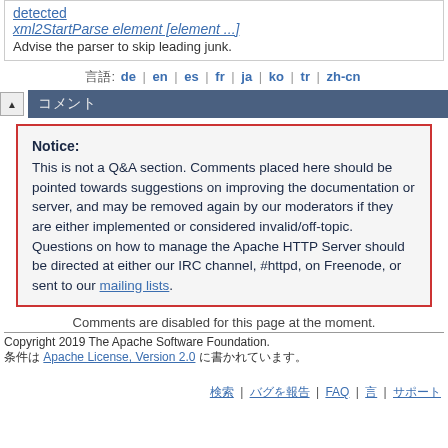detected
xml2StartParse element [element ...]
Advise the parser to skip leading junk.
言語: de | en | es | fr | ja | ko | tr | zh-cn
コメント
Notice:
This is not a Q&A section. Comments placed here should be pointed towards suggestions on improving the documentation or server, and may be removed again by our moderators if they are either implemented or considered invalid/off-topic. Questions on how to manage the Apache HTTP Server should be directed at either our IRC channel, #httpd, on Freenode, or sent to our mailing lists.
Comments are disabled for this page at the moment.
Copyright 2019 The Apache Software Foundation.
条件は Apache License, Version 2.0 に書かれています。
検索 | バグを報告 | FAQ | 言 | サポート